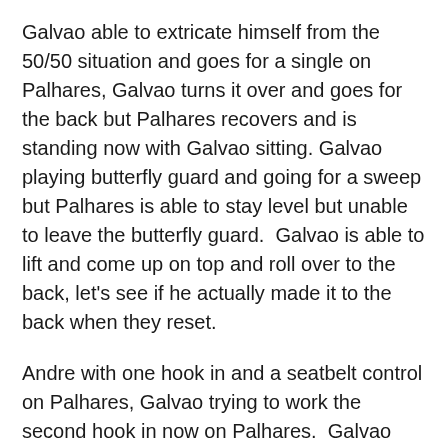Galvao able to extricate himself from the 50/50 situation and goes for a single on Palhares, Galvao turns it over and goes for the back but Palhares recovers and is standing now with Galvao sitting. Galvao playing butterfly guard and going for a sweep but Palhares is able to stay level but unable to leave the butterfly guard.  Galvao is able to lift and come up on top and roll over to the back, let's see if he actually made it to the back when they reset.
Andre with one hook in and a seatbelt control on Palhares, Galvao trying to work the second hook in now on Palhares.  Galvao has both hooks for a short period of time and I'm unsure if points were scored but Palhares is now out and active on the feet as both guys stand up.